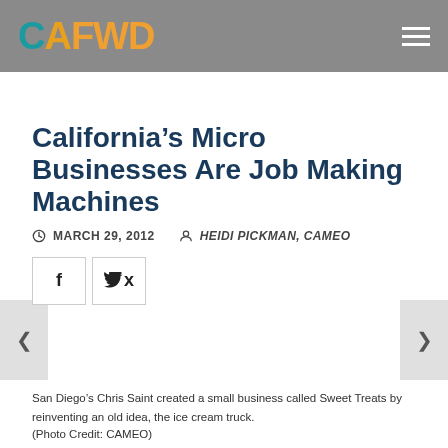[Figure (logo): CAFWD logo with CA in teal and FWD in orange/gold on a grey header bar]
California’s Micro Businesses Are Job Making Machines
MARCH 29, 2012   HEIDI PICKMAN, CAMEO
[Figure (other): Social share buttons: Facebook (f) and Twitter (bird icon)]
San Diego’s Chris Saint created a small business called Sweet Treats by reinventing an old idea, the ice cream truck.
(Photo Credit: CAMEO)